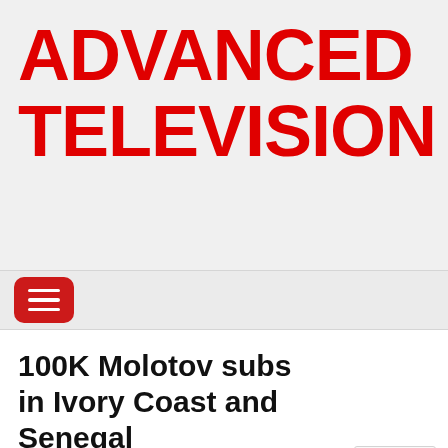ADVANCED TELEVISION
[Figure (other): Red hamburger menu button icon on gray navigation bar]
100K Molotov subs in Ivory Coast and Senegal
March 16, 2021
From Pascale Paoli-Lebailly in Paris